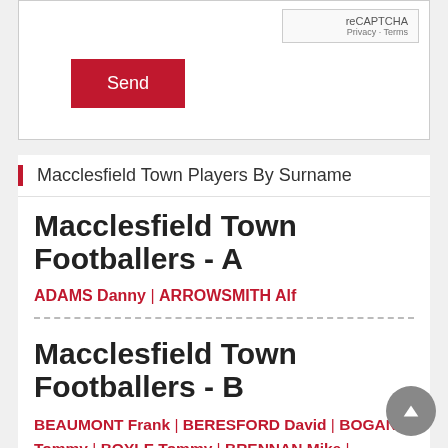[Figure (screenshot): reCAPTCHA widget box showing 'reCAPTCHA', 'Privacy - Terms' text]
Send
Macclesfield Town Players By Surname
Macclesfield Town Footballers - A
ADAMS Danny | ARROWSMITH Alf
Macclesfield Town Footballers - B
BEAUMONT Frank | BERESFORD David | BOGAN Tommy | BOYLE Tommy | BRENNAN Mike |